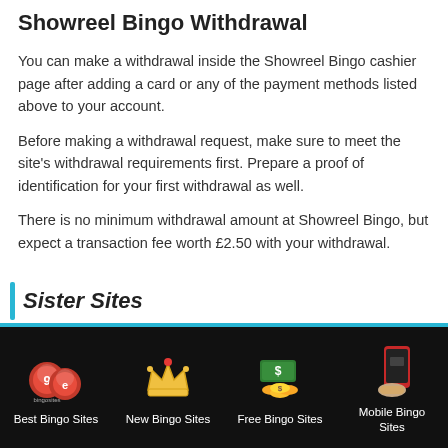Showreel Bingo Withdrawal
You can make a withdrawal inside the Showreel Bingo cashier page after adding a card or any of the payment methods listed above to your account.
Before making a withdrawal request, make sure to meet the site's withdrawal requirements first. Prepare a proof of identification for your first withdrawal as well.
There is no minimum withdrawal amount at Showreel Bingo, but expect a transaction fee worth £2.50 with your withdrawal.
Sister Sites
[Figure (illustration): Footer navigation bar with four icons and labels on black background: Best Bingo Sites (bingo balls icon), New Bingo Sites (crown icon), Free Bingo Sites (money/coins icon), Mobile Bingo Sites (phone icon)]